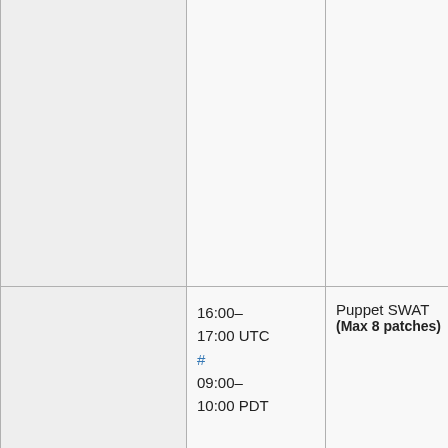|  | Time | Event | People |
| --- | --- | --- | --- |
|  |  |  |  |
|  | 16:00–17:00 UTC #
09:00–10:00 PDT | Puppet SWAT
(Max 8 patches) | Filippo (g
Moritz (moritzm
Giuseppe (_joe_),
Guillaume (gehel) |
|  | 17:00 |  | Yuri (yur
Gabriel |